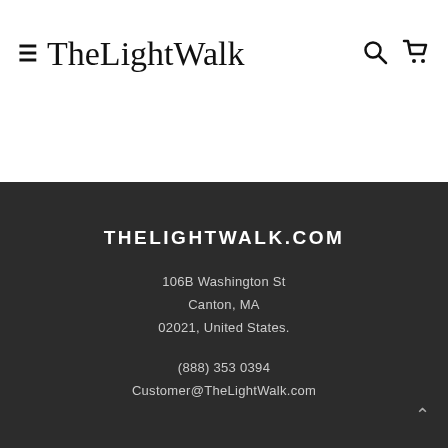TheLightWalk
THELIGHTWALK.COM
106B Washington St
Canton, MA
02021, United States.
(888) 353 0394
Customer@TheLightWalk.com